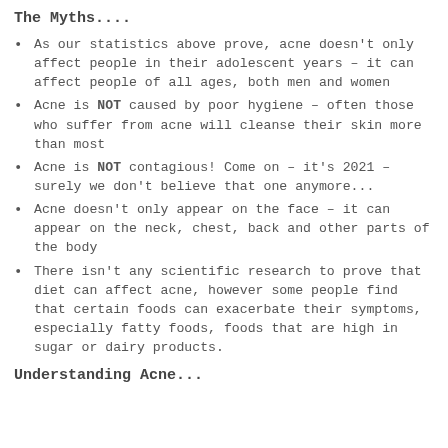The Myths....
As our statistics above prove, acne doesn't only affect people in their adolescent years – it can affect people of all ages, both men and women
Acne is NOT caused by poor hygiene – often those who suffer from acne will cleanse their skin more than most
Acne is NOT contagious! Come on – it's 2021 – surely we don't believe that one anymore...
Acne doesn't only appear on the face – it can appear on the neck, chest, back and other parts of the body
There isn't any scientific research to prove that diet can affect acne, however some people find that certain foods can exacerbate their symptoms, especially fatty foods, foods that are high in sugar or dairy products.
Understanding Acne...